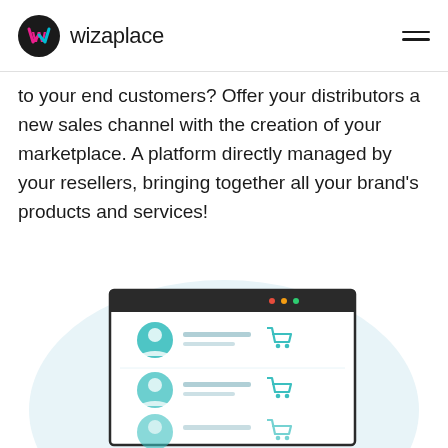wizaplace
to your end customers? Offer your distributors a new sales channel with the creation of your marketplace. A platform directly managed by your resellers, bringing together all your brand's products and services!
[Figure (illustration): A browser window mockup showing a marketplace interface with user avatar icons on the left, text lines in the middle, and shopping cart icons on the right, placed on a light blue circular background.]